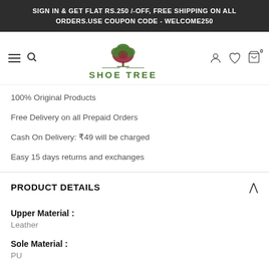SIGN IN & GET FLAT RS.250 /-OFF, FREE SHIPPING ON ALL ORDERS.USE COUPON CODE - WELCOME250
[Figure (logo): Shoe Tree logo with tree icon above text SHOE TREE in green and dark red]
100% Original Products
Free Delivery on all Prepaid Orders
Cash On Delivery: ₹49 will be charged
Easy 15 days returns and exchanges
PRODUCT DETAILS
Upper Material :
Leather
Sole Material :
PU